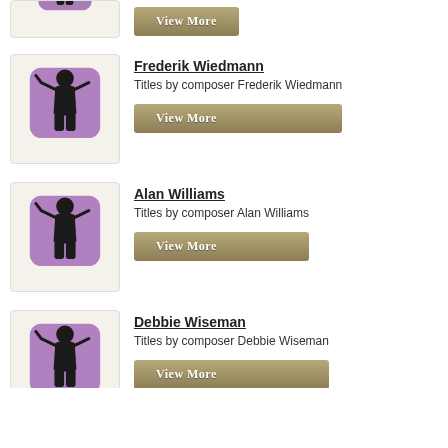[Figure (illustration): Partial view of conductor icon in beige card with View More button]
[Figure (illustration): Purple rounded square with silhouette of conductor in tuxedo holding baton]
Frederik Wiedmann
Titles by composer Frederik Wiedmann
[Figure (illustration): View More button for Frederik Wiedmann]
[Figure (illustration): Purple rounded square with silhouette of conductor in tuxedo holding baton]
Alan Williams
Titles by composer Alan Williams
[Figure (illustration): View More button for Alan Williams]
[Figure (illustration): Purple rounded square with silhouette of conductor in tuxedo holding baton (partial)]
Debbie Wiseman
Titles by composer Debbie Wiseman
[Figure (illustration): View More button for Debbie Wiseman (partial)]